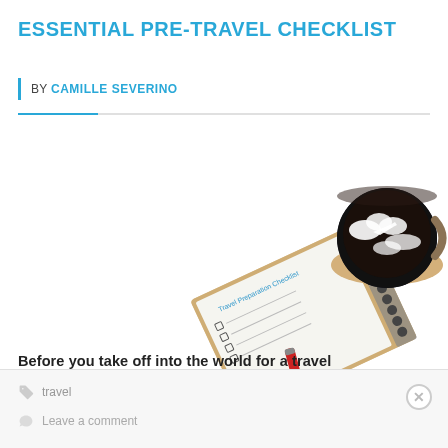ESSENTIAL PRE-TRAVEL CHECKLIST
BY CAMILLE SEVERINO
[Figure (photo): A stylized travel photo showing a coffee cup viewed from above with white cloud and airplane formations in the coffee foam, placed on top of a spiral-bound notebook with a red pen and a 'Travel Preparation Checklist' form, all on a white background.]
Before you take off into the world for a travel extravaganza, make sure you have everything you need with our pre-travel checklist.
travel | Leave a comment